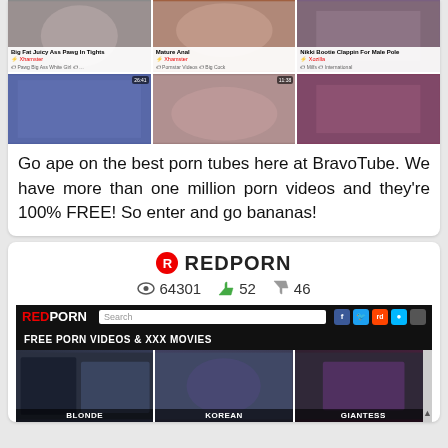[Figure (screenshot): BravoTube website screenshot showing a 3x2 grid of adult video thumbnails with titles: 'Big Fat Juicy Ass Pawg In Tights', 'Mature Anal', 'Nikki Bootie Clappin For Male Pole' in top row, and three more thumbnails in bottom row]
Go ape on the best porn tubes here at BravoTube. We have more than one million porn videos and they're 100% FREE! So enter and go bananas!
[Figure (screenshot): RedPorn website screenshot showing header with RED PORN logo, search bar, social media buttons (Facebook, Twitter, Reddit), FREE PORN VIDEOS & XXX MOVIES banner, and three video thumbnails labeled BLONDE, KOREAN, GIANTESS]
REDPORN
64301  52  46